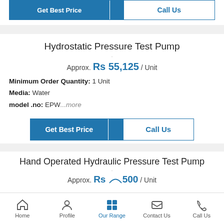[Figure (screenshot): Top action buttons: Get Best Price and Call Us]
Hydrostatic Pressure Test Pump
Approx. Rs 55,125 / Unit
Minimum Order Quantity: 1 Unit
Media: Water
model .no: EPW...more
[Figure (screenshot): Action buttons: Get Best Price and Call Us]
Hand Operated Hydraulic Pressure Test Pump
Approx. Rs ...500 / Unit
[Figure (screenshot): Bottom navigation bar: Home, Profile, Our Range, Contact Us, Call Us]